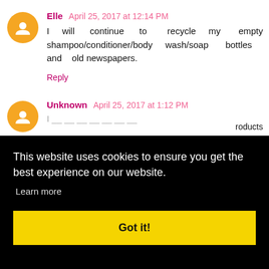Elle  April 25, 2017 at 12:14 PM
I will continue to recycle my empty shampoo/conditioner/body wash/soap bottles and old newspapers.
Reply
Unknown  April 25, 2017 at 1:12 PM
This website uses cookies to ensure you get the best experience on our website.
Learn more
Got it!